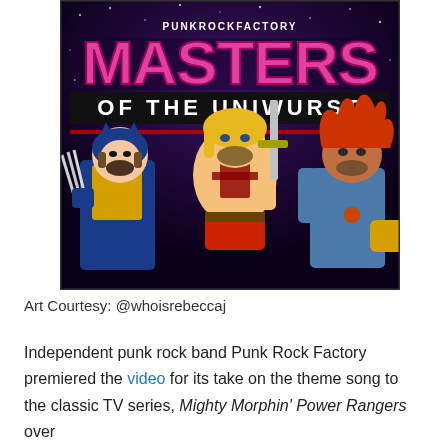[Figure (illustration): Comic-style illustration with title 'PUNKROCKFACTORY MASTERS OF THE UNIWURST' showing three cartoon characters: Wolverine on the left with claws, He-Man in the center holding a sword, and Lion-O from ThunderCats on the right. Space/galaxy background.]
Art Courtesy: @whoisrebeccaj
Independent punk rock band Punk Rock Factory premiered the video for its take on the theme song to the classic TV series, Mighty Morphin' Power Rangers over